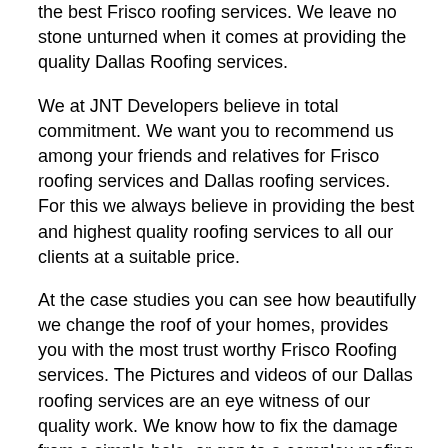the best Frisco roofing services. We leave no stone unturned when it comes at providing the quality Dallas Roofing services.
We at JNT Developers believe in total commitment. We want you to recommend us among your friends and relatives for Frisco roofing services and Dallas roofing services. For this we always believe in providing the best and highest quality roofing services to all our clients at a suitable price.
At the case studies you can see how beautifully we change the roof of your homes, provides you with the most trust worthy Frisco Roofing services. The Pictures and videos of our Dallas roofing services are an eye witness of our quality work. We know how to fix the damage from a simple hole, or gap to a complex roofing problem.
FIRSCO ROOFING We are geared towards working with homeowners and real estate investors, and are always at your first call for providing you the best solutions for all your residential and commercial properties. Needing in free estimates for your Frisco roofing services? Or you want to know the free estimates of your damages for Dallas roofing services, contact us. We give you fast and free estimates for all your roofing services.